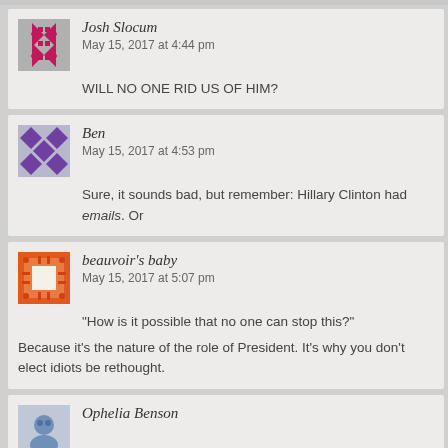Josh Slocum
May 15, 2017 at 4:44 pm
WILL NO ONE RID US OF HIM?
Ben
May 15, 2017 at 4:53 pm
Sure, it sounds bad, but remember: Hillary Clinton had emails. Or
beauvoir's baby
May 15, 2017 at 5:07 pm
“How is it possible that no one can stop this?”
Because it’s the nature of the role of President. It’s why you don’t elect idiots be rethought.
Ophelia Benson